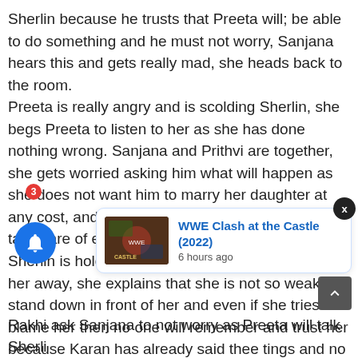Sherlin because he trusts that Preeta will; be able to do something and he must not worry, Sanjana hears this and gets really mad, she heads back to the room. Preeta is really angry and is scolding Sherlin, she begs Preeta to listen to her as she has done nothing wrong. Sanjana and Prithvi are together, she gets worried asking him what will happen as she does not want him to marry her daughter at any cost, and he asks her to not worry as he will take care of everything. Sherlin is holding Preeta hand and then pushes her away, she explains that she is not so weak to stand down in front of her and even if she tries to blame her then no one will remember and trust her because Karan has already said thee tings and no one trusted huis words so even if she says this to them then she will be proven wrong, Sherlin says that at first she wanted to marry Rishab but now everyone will w she wants, Pre she is unt
[Figure (infographic): Notification popup card showing WWE Clash at the Castle (2022) with thumbnail image and text '6 hours ago', along with a blue notification bell button with badge count 3, a close X button, and a scroll-to-top arrow button]
Rakhi ask Sanjana to not worry as Preeta will talk Sherli